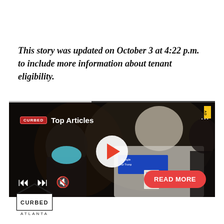This story was updated on October 3 at 4:22 p.m. to include more information about tenant eligibility.
[Figure (screenshot): Embedded video player showing a man with glasses wearing a white jacket with a blue badge reading 'Google' and 'for Trump', alongside a person in a blue mask. Overlay shows Curbed Top Articles branding, a play button, media controls, and a red READ MORE button at the bottom right.]
[Figure (logo): Curbed Atlanta logo — house icon outline with CURBED text inside and ATLANTA below]